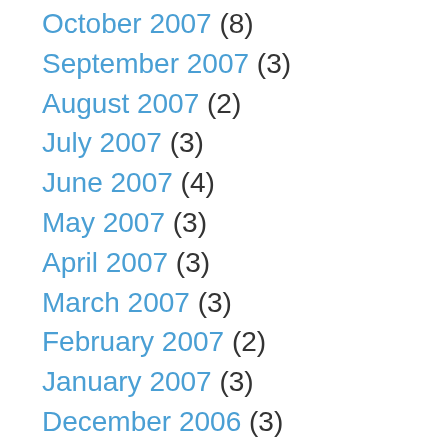October 2007 (8)
September 2007 (3)
August 2007 (2)
July 2007 (3)
June 2007 (4)
May 2007 (3)
April 2007 (3)
March 2007 (3)
February 2007 (2)
January 2007 (3)
December 2006 (3)
November 2006 (4)
October 2006 (7)
September 2006 (4)
July 2006 (2)